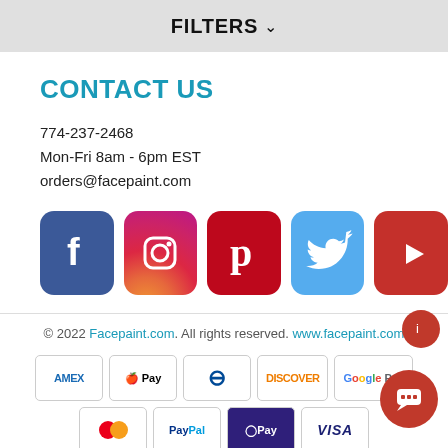FILTERS
CONTACT US
774-237-2468
Mon-Fri 8am - 6pm EST
orders@facepaint.com
[Figure (infographic): Social media icons: Facebook, Instagram, Pinterest, Twitter, YouTube]
© 2022 Facepaint.com. All rights reserved. www.facepaint.com
[Figure (infographic): Payment method badges: AMEX, Apple Pay, Diners, Discover, Google Pay, Mastercard, PayPal, OPay, Visa]